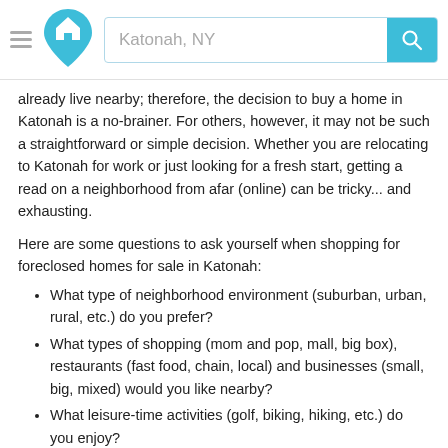[Figure (screenshot): Website header with hamburger menu icon, house/home logo in cyan, search bar with placeholder text 'Katonah, NY', and cyan search button with magnifying glass icon]
already live nearby; therefore, the decision to buy a home in Katonah is a no-brainer. For others, however, it may not be such a straightforward or simple decision. Whether you are relocating to Katonah for work or just looking for a fresh start, getting a read on a neighborhood from afar (online) can be tricky... and exhausting.
Here are some questions to ask yourself when shopping for foreclosed homes for sale in Katonah:
What type of neighborhood environment (suburban, urban, rural, etc.) do you prefer?
What types of shopping (mom and pop, mall, big box), restaurants (fast food, chain, local) and businesses (small, big, mixed) would you like nearby?
What leisure-time activities (golf, biking, hiking, etc.) do you enjoy?
What type of commute (car, plane, home office) do you seek?
In short, it always helps to create a “Pros vs. Cons” list of what